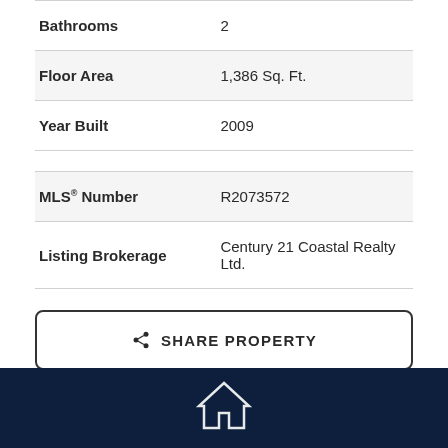| Bathrooms | 2 |
| Floor Area | 1,386 Sq. Ft. |
| Year Built | 2009 |
| MLS® Number | R2073572 |
| Listing Brokerage | Century 21 Coastal Realty Ltd. |
SHARE PROPERTY